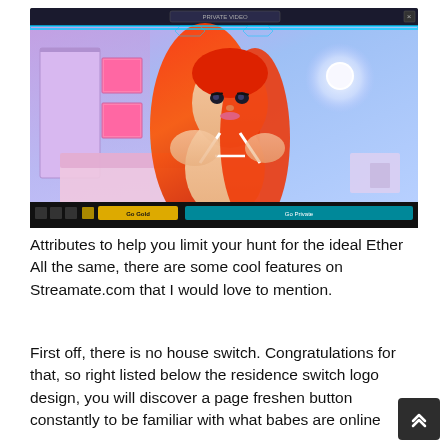[Figure (screenshot): Screenshot of a webcam streaming site showing a young woman with long red hair in a white bikini top, in a bedroom with purple/blue lighting. The interface has a dark top bar, yellow 'Go Gold' button and teal 'Go Private' button at the bottom.]
Attributes to help you limit your hunt for the ideal Ether All the same, there are some cool features on Streamate.com that I would love to mention.
First off, there is no house switch. Congratulations for that, so right listed below the residence switch logo design, you will discover a page freshen button constantly to be familiar with what babes are online